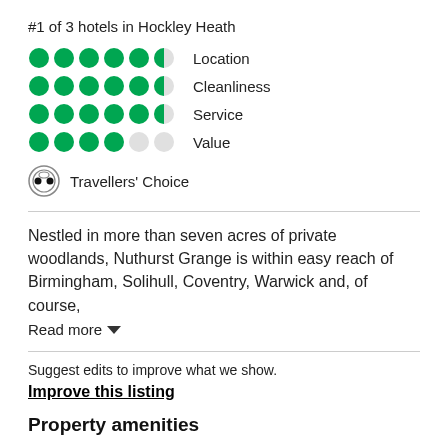#1 of 3 hotels in Hockley Heath
[Figure (infographic): Rating rows: Location (5 dots: 5 full green + half), Cleanliness (5 full green + half), Service (5 full green + half), Value (4 full green + empty)]
[Figure (logo): Travellers' Choice badge icon with Travellers' Choice label]
Nestled in more than seven acres of private woodlands, Nuthurst Grange is within easy reach of Birmingham, Solihull, Coventry, Warwick and, of course,
Read more
Suggest edits to improve what we show.
Improve this listing
Property amenities